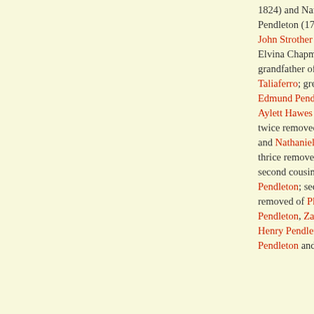1824) and Nancy (Strother) Pendleton (1784-1819); brother of John Strother Pendleton; married to Elvina Chapman (1811-1868); grandfather of Sidney Fletcher Taliaferro; great-grandnephew of Edmund Pendleton; first cousin of Aylett Hawes Buckner; first cousin twice removed of John Pendleton Jr. and Nathaniel Pendleton; first cousin thrice removed of William Grayson; second cousin of Philip Coleman Pendleton; second cousin once removed of Philip Clayton Pendleton, Zachary Taylor, Edmund Henry Pendleton, Nathanael Greene Pendleton and Charles Rittenhouse